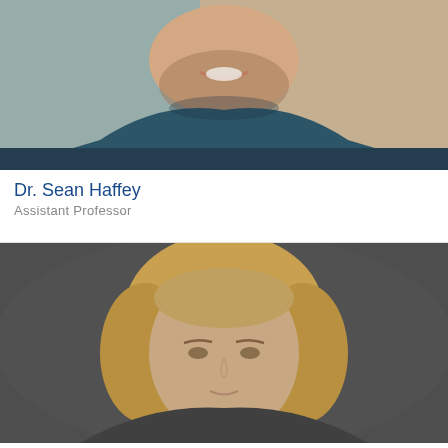[Figure (photo): Headshot photo of Dr. Sean Haffey, a man with a beard and blue shirt, smiling, cropped to show lower face and shoulders]
Dr. Sean Haffey
Assistant Professor
[Figure (photo): Headshot photo of a woman with blonde hair against a dark gray background, visible from shoulders up]